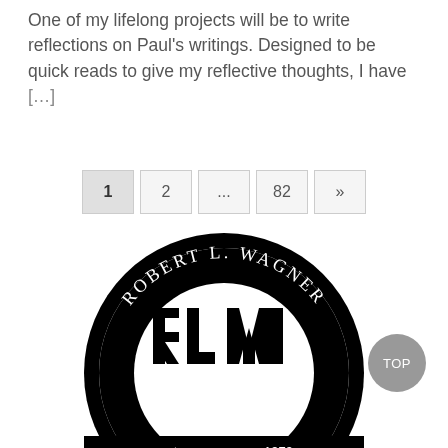One of my lifelong projects will be to write reflections on Paul's writings. Designed to be quick reads to give my reflective thoughts, I have [...]
[Figure (other): Pagination navigation with buttons: 1, 2, ..., 82, >>]
[Figure (logo): Circular logo for Robert L. Wagner, est. 1979, with large block letters RLW in the center]
TOP